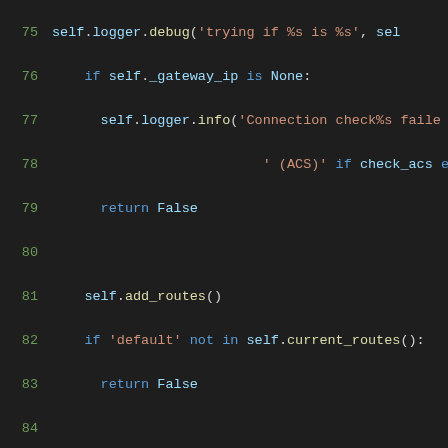[Figure (screenshot): Python source code snippet showing lines 75-96 of a network connection check method, with syntax highlighting on a dark background. Green line numbers, blue keywords, teal identifiers, orange strings.]